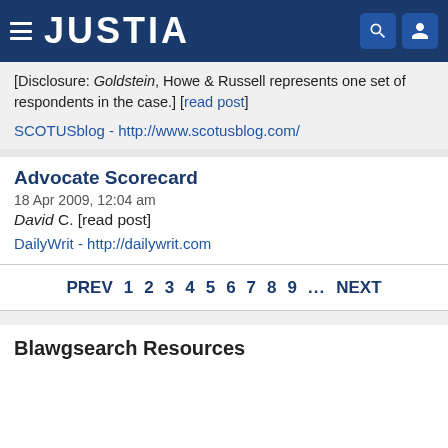JUSTIA
[Disclosure: Goldstein, Howe & Russell represents one set of respondents in the case.] [read post]
SCOTUSblog - http://www.scotusblog.com/
Advocate Scorecard
18 Apr 2009, 12:04 am
David C. [read post]
DailyWrit - http://dailywrit.com
PREV 1 2 3 4 5 6 7 8 9 ... NEXT
Blawgsearch Resources